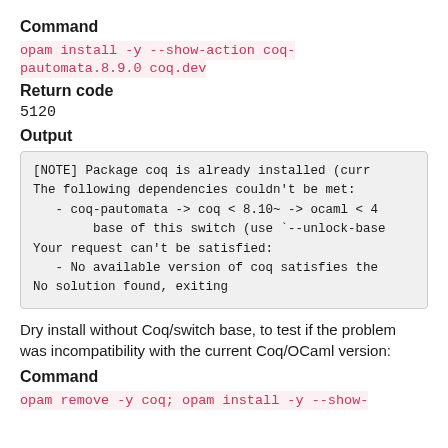Command
opam install -y --show-action coq-pautomata.8.9.0 coq.dev
Return code
5120
Output
[NOTE] Package coq is already installed (curr
The following dependencies couldn't be met:
  - coq-pautomata -> coq < 8.10~ -> ocaml < 4
        base of this switch (use `--unlock-base
Your request can't be satisfied:
  - No available version of coq satisfies the
No solution found, exiting
Dry install without Coq/switch base, to test if the problem was incompatibility with the current Coq/OCaml version:
Command
opam remove -y coq; opam install -y --show-